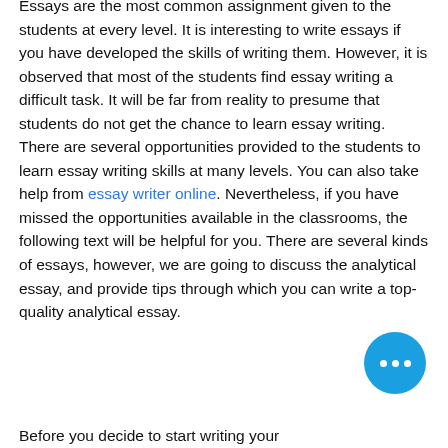Essays are the most common assignment given to the students at every level. It is interesting to write essays if you have developed the skills of writing them. However, it is observed that most of the students find essay writing a difficult task. It will be far from reality to presume that students do not get the chance to learn essay writing. There are several opportunities provided to the students to learn essay writing skills at many levels. You can also take help from essay writer online. Nevertheless, if you have missed the opportunities available in the classrooms, the following text will be helpful for you. There are several kinds of essays, however, we are going to discuss the analytical essay, and provide tips through which you can write a top-quality analytical essay.
Before you decide to start writing your